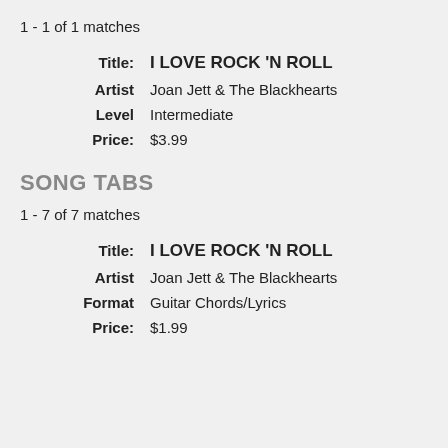1 - 1 of 1 matches
Title: I LOVE ROCK 'N ROLL
Artist Joan Jett & The Blackhearts
Level Intermediate
Price: $3.99
SONG TABS
1 - 7 of 7 matches
Title: I LOVE ROCK 'N ROLL
Artist Joan Jett & The Blackhearts
Format Guitar Chords/Lyrics
Price: $1.99